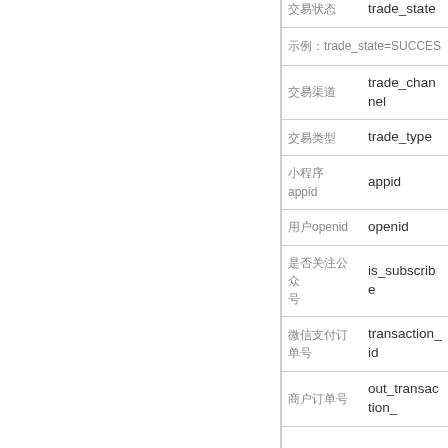| 字段名称 | 字段 |
| --- | --- |
| 交易状态 | trade_state |
| 示例：trade_state=SUCCESS |  |
| 交易渠道 | trade_channel |
| 交易类型 | trade_type |
| 小程序appid | appid |
| 用户openid | openid |
| 是否关注公众号 | is_subscribe |
| 微信支付订单号 | transaction_id |
| 商户订单号 | out_transaction_ |